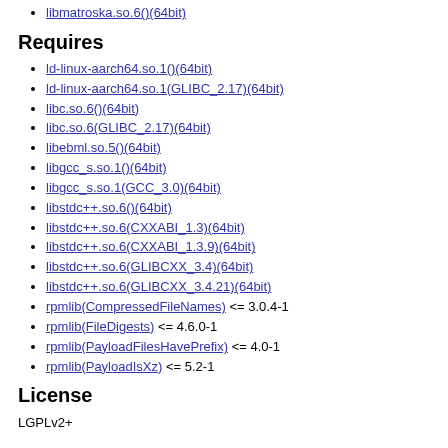libmatroska.so.6()(64bit)
Requires
ld-linux-aarch64.so.1()(64bit)
ld-linux-aarch64.so.1(GLIBC_2.17)(64bit)
libc.so.6()(64bit)
libc.so.6(GLIBC_2.17)(64bit)
libebml.so.5()(64bit)
libgcc_s.so.1()(64bit)
libgcc_s.so.1(GCC_3.0)(64bit)
libstdc++.so.6()(64bit)
libstdc++.so.6(CXXABI_1.3)(64bit)
libstdc++.so.6(CXXABI_1.3.9)(64bit)
libstdc++.so.6(GLIBCXX_3.4)(64bit)
libstdc++.so.6(GLIBCXX_3.4.21)(64bit)
rpmlib(CompressedFileNames) <= 3.0.4-1
rpmlib(FileDigests) <= 4.6.0-1
rpmlib(PayloadFilesHavePrefix) <= 4.0-1
rpmlib(PayloadIsXz) <= 5.2-1
License
LGPLv2+